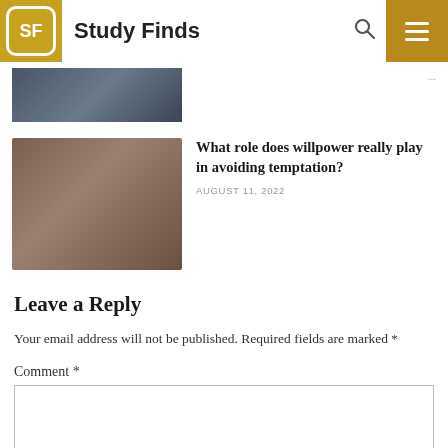Study Finds
[Figure (photo): Partial view of a person in dark clothing, upper portion cropped]
[Figure (photo): Young woman with brown hair resting her chin on her hands, looking at small dessert tarts on a plate on a table]
What role does willpower really play in avoiding temptation?
AUGUST 11, 2022
Leave a Reply
Your email address will not be published. Required fields are marked *
Comment *